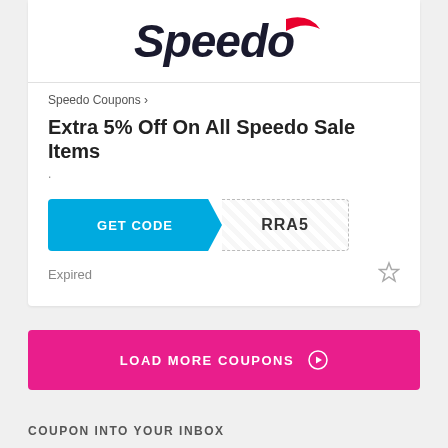[Figure (logo): Speedo logo with red swoosh]
Speedo Coupons >
Extra 5% Off On All Speedo Sale Items
.
[Figure (infographic): GET CODE button with coupon code EXTRA5]
Expired
LOAD MORE COUPONS ⊕
COUPON INTO YOUR INBOX